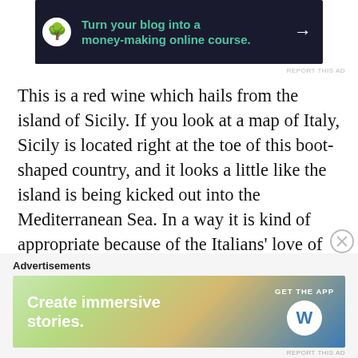[Figure (other): Dark advertisement banner: 'Turn your blog into a money-making online course.' with arrow icon and bonsai logo]
REPORT THIS AD
This is a red wine which hails from the island of Sicily. If you look at a map of Italy, Sicily is located right at the toe of this boot-shaped country, and it looks a little like the island is being kicked out into the Mediterranean Sea. In a way it is kind of appropriate because of the Italians' love of soccer, their football. Sicily is also the home of the Cyclops in Ancient Greek Mythology. The most famous of these is Polyphemus, who lived in a “covo” or a lair. Polyphemus is a giant of a being, bold, brash and really evil. A legend about him is that he became so vicious due to an unrequited love. In
Advertisements
[Figure (other): Colorful WordPress advertisement banner: 'Create immersive stories. GET THE APP' with WordPress logo]